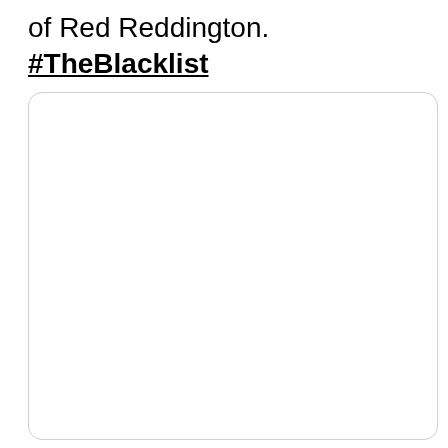of Red Reddington. #TheBlacklist
[Figure (other): Empty white rounded rectangle card/panel with light gray border, occupying the lower portion of the page.]